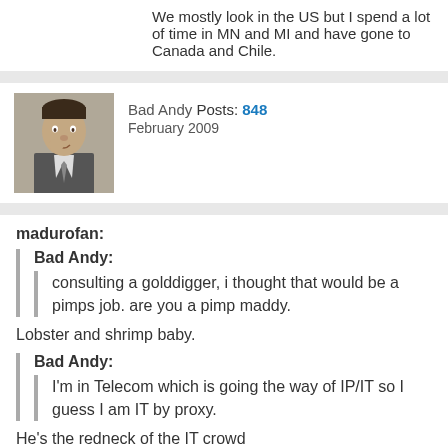We mostly look in the US but I spend a lot of time in MN and MI and have gone to Canada and Chile.
Bad Andy Posts: 848 February 2009
madurofan:
Bad Andy: consulting a golddigger, i thought that would be a pimps job. are you a pimp maddy.
Lobster and shrimp baby.
Bad Andy: I'm in Telecom which is going the way of IP/IT so I guess I am IT by proxy.
He's the redneck of the IT crowd